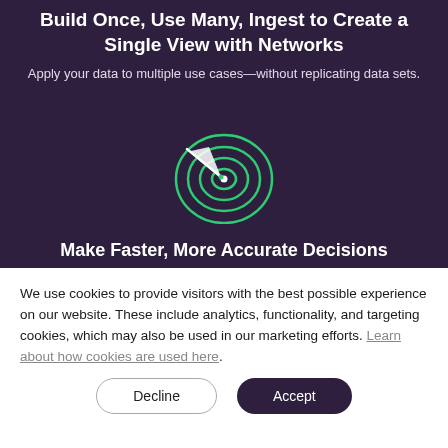Build Once, Use Many, Ingest to Create a Single View with Networks
Apply your data to multiple use cases—without replicating data sets.
[Figure (illustration): Green target/bullseye icon with an arrow hitting the center, on dark purple background]
Make Faster, More Accurate Decisions
We use cookies to provide visitors with the best possible experience on our website. These include analytics, functionality, and targeting cookies, which may also be used in our marketing efforts. Learn about how cookies are used here.